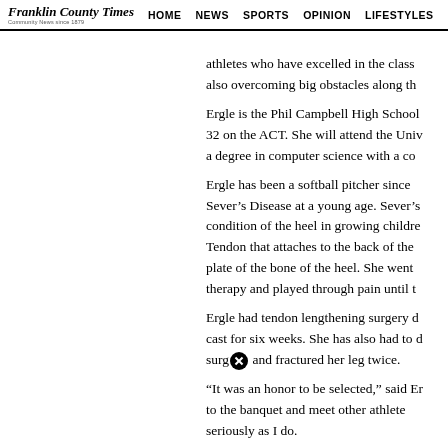Franklin County Times | HOME | NEWS | SPORTS | OPINION | LIFESTYLES
athletes who have excelled in the class also overcoming big obstacles along th
Ergle is the Phil Campbell High School — 32 on the ACT. She will attend the Univ a degree in computer science with a co
Ergle has been a softball pitcher since Sever's Disease at a young age. Sever's condition of the heel in growing childre Tendon that attaches to the back of the plate of the bone of the heel. She went therapy and played through pain until t
Ergle had tendon lengthening surgery cast for six weeks. She has also had to surg and fractured her leg twice.
“It was an honor to be selected,” said Er to the banquet and meet other athlete seriously as I do.